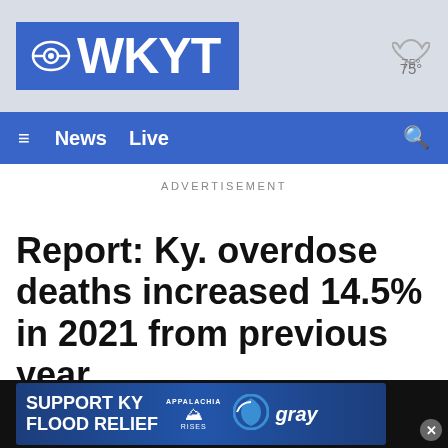WKYT News - CBS affiliate
ADVERTISEMENT
Report: Ky. overdose deaths increased 14.5% in 2021 from previous year
[Figure (screenshot): WKYT CBS news website screenshot with logo, navigation bar with News and Live links, advertisement label, and article headline about Kentucky overdose deaths. Bottom banner: SUPPORT KY FLOOD RELIEF - APPALACHIA RISES - gray logo.]